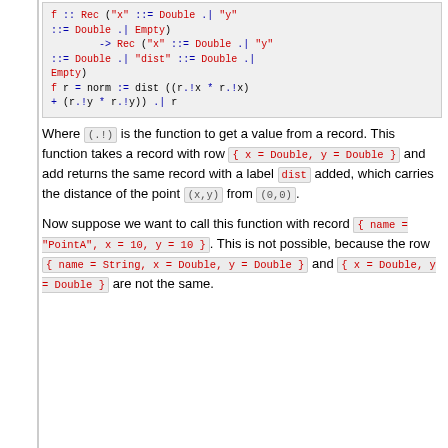[Figure (screenshot): Code block showing Haskell-like type signature and function definition for f with Rec types and norm/dist computation]
Where (.!) is the function to get a value from a record. This function takes a record with row { x = Double, y = Double } and add returns the same record with a label dist added, which carries the distance of the point (x,y) from (0,0).
Now suppose we want to call this function with record { name = "PointA", x = 10, y = 10 }. This is not possible, because the row { name = String, x = Double, y = Double } and { x = Double, y = Double } are not the same.